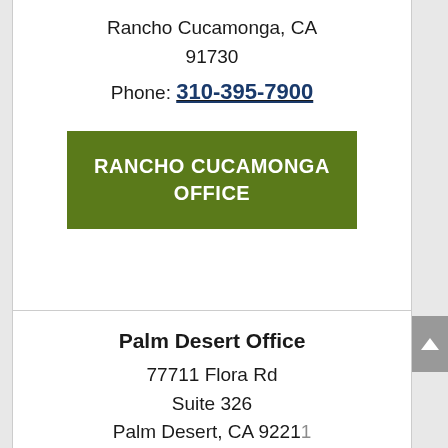Rancho Cucamonga, CA 91730
Phone: 310-395-7900
RANCHO CUCAMONGA OFFICE
Palm Desert Office
77711 Flora Rd
Suite 326
Palm Desert, CA 92211